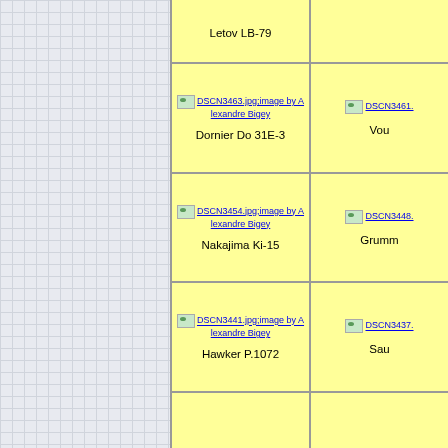| Letov LB-79 | (right col truncated) |
| DSCN3463.jpg;image by Alexandre Bigey / Dornier Do 31E-3 | DSCN3461... / Vou... |
| DSCN3454.jpg;image by Alexandre Bigey / Nakajima Ki-15 | DSCN3448... / Grumm... |
| DSCN3441.jpg;image by Alexandre Bigey / Hawker P.1072 | DSCN3437... / Sau... |
| (partial row) | (partial row) |